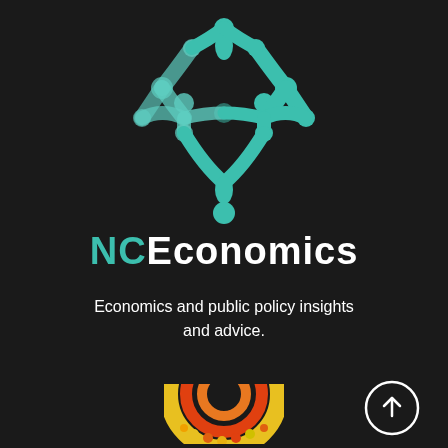[Figure (logo): NCEconomics network/node logo in teal/green colors on dark background]
NCEconomics
Economics and public policy insights and advice.
[Figure (illustration): Circle with upward arrow scroll-to-top button in white outline]
[Figure (illustration): Partial colorful circular graphic at bottom of page (yellow/orange/red)]